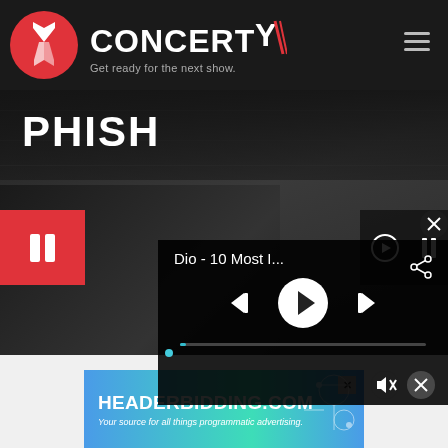[Figure (screenshot): Concerty website header with logo (red circle with Y icon), brand name CONCERTY with tagline 'Get ready for the next show', and hamburger menu icon on dark background]
[Figure (screenshot): PHISH artist page screenshot showing dark banner with PHISH title, pause button on red square, mini playback controls, background photo of person playing guitar, and an embedded music player overlay showing 'Dio - 10 Most I...' with playback controls including skip back, play, skip forward, and share icon. A blue progress bar is visible. A mute and close button appear at bottom right.]
[Figure (screenshot): Advertisement banner for HEADERBIDDING.COM with tagline 'Your source for all things programmatic advertising.' on a blue-teal gradient background with a circuit/network pattern on the right side and a close X button.]